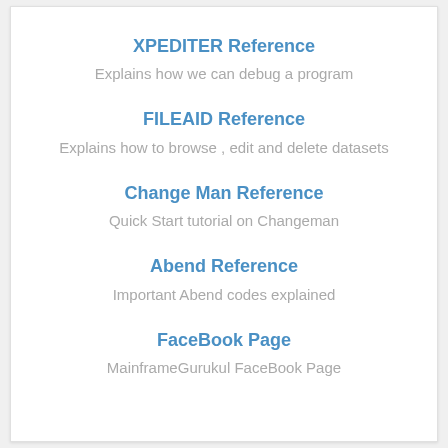XPEDITER Reference
Explains how we can debug a program
FILEAID Reference
Explains how to browse , edit and delete datasets
Change Man Reference
Quick Start tutorial on Changeman
Abend Reference
Important Abend codes explained
FaceBook Page
MainframeGurukul FaceBook Page